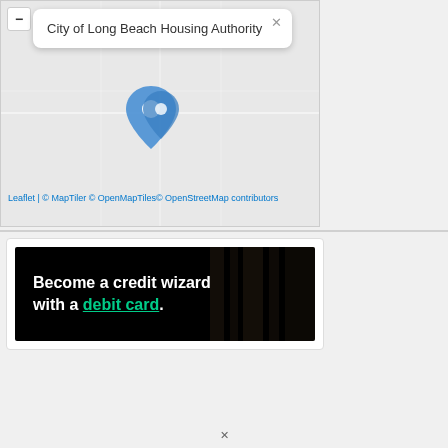[Figure (map): Map showing location of City of Long Beach Housing Authority with a blue map pin marker and a popup label. Includes zoom control and map attribution.]
Leaflet | © MapTiler © OpenMapTiles© OpenStreetMap contributors
[Figure (other): Advertisement banner: black background with white bold text 'Become a credit wizard with a debit card.' where 'debit card.' is in green with underline.]